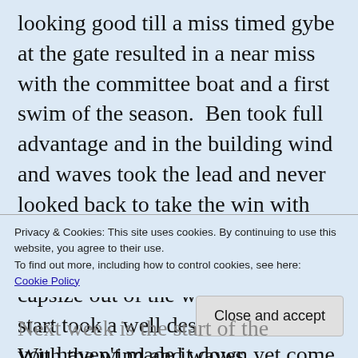looking good till a miss timed gybe at the gate resulted in a near miss with the committee boat and a first swim of the season.  Ben took full advantage and in the building wind and waves took the lead and never looked back to take the win with the 400 recovering to take second.  Anna and Keith having got there capsize out of the way before the start took a well deserved 3rd.   With the wind and waves continuing to increase and with everyone bar Jamie Freeman in a borrowed RS700 and Ben
Privacy & Cookies: This site uses cookies. By continuing to use this website, you agree to their use.
To find out more, including how to control cookies, see here:
Cookie Policy
Close and accept
Next week is the start of the
you haven't made it down yet come and join in the fun!